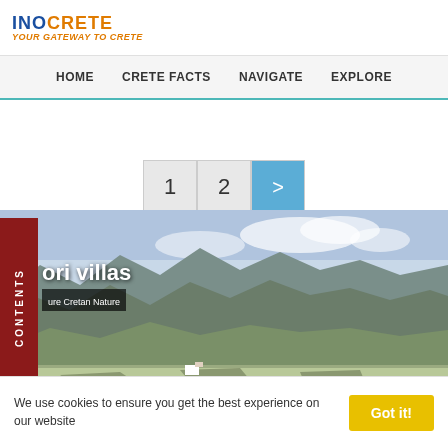YOUR GATEWAY TO CRETE
HOME  CRETE FACTS  NAVIGATE  EXPLORE
[Figure (screenshot): Pagination with buttons 1, 2, and a blue forward arrow]
[Figure (photo): Aerial photo of Cretan landscape with mountains and green valleys, with overlay text 'ori villas' and 'ure Cretan Nature']
We use cookies to ensure you get the best experience on our website